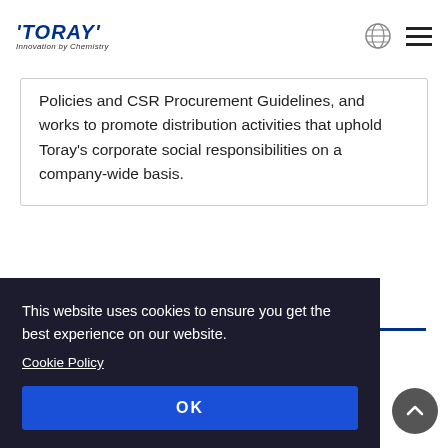TORAY Innovation by Chemistry
Policies and CSR Procurement Guidelines, and works to promote distribution activities that uphold Toray’s corporate social responsibilities on a company-wide basis.
Structure
...is the ...d ...risk ...to ...responds to customer inquiries about Toray Industries
This website uses cookies to ensure you get the best experience on our website. Cookie Policy OK